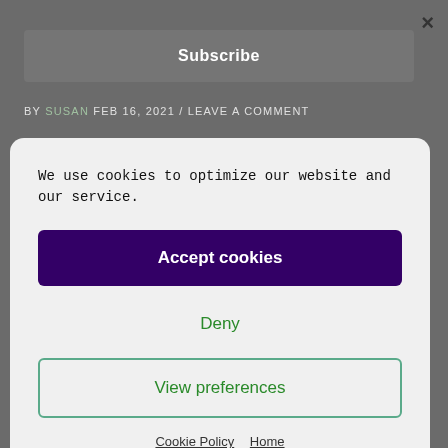×
Subscribe
BY SUSAN FEB 16, 2021 / LEAVE A COMMENT
We use cookies to optimize our website and our service.
Accept cookies
Deny
View preferences
Cookie Policy   Home